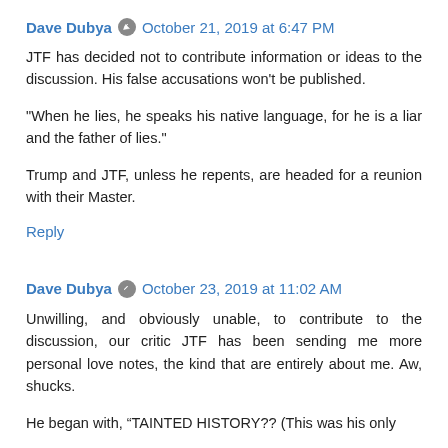Dave Dubya  October 21, 2019 at 6:47 PM
JTF has decided not to contribute information or ideas to the discussion. His false accusations won't be published.
"When he lies, he speaks his native language, for he is a liar and the father of lies."
Trump and JTF, unless he repents, are headed for a reunion with their Master.
Reply
Dave Dubya  October 23, 2019 at 11:02 AM
Unwilling, and obviously unable, to contribute to the discussion, our critic JTF has been sending me more personal love notes, the kind that are entirely about me. Aw, shucks.
He began with, “TAINTED HISTORY?? (This was his only